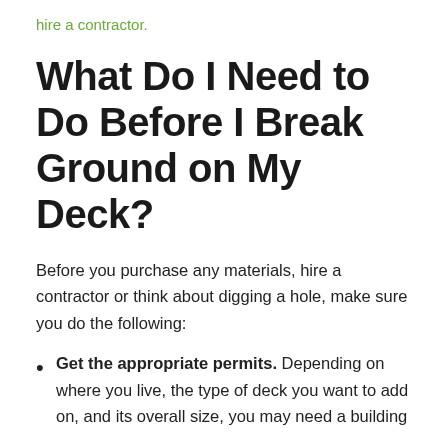hire a contractor.
What Do I Need to Do Before I Break Ground on My Deck?
Before you purchase any materials, hire a contractor or think about digging a hole, make sure you do the following:
Get the appropriate permits. Depending on where you live, the type of deck you want to add on, and its overall size, you may need a building